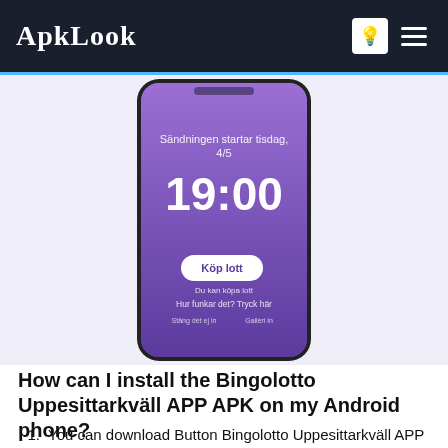ApkLook
[Figure (screenshot): Smartphone screenshot showing a purple app screen with text 'Sändningen startar tisdag, 4/5', '19:00', a button 'Köp lott', and additional small text links.]
How can I install the Bingolotto Uppesittarkväll APP APK on my Android phone?
You can download Button Bingolotto Uppesittarkväll APP APK by clicking the button above to start the download. Once the download is complete, you can find the APK in the "Downloads" section of your browser. Before you can install it on your phone, you